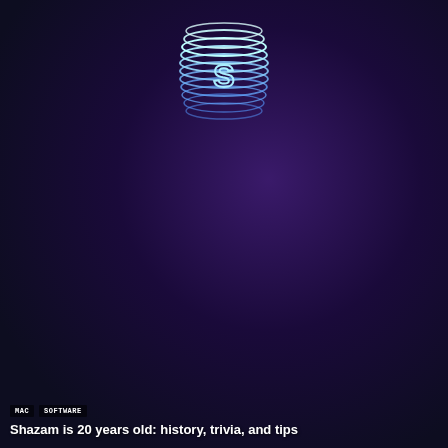[Figure (screenshot): Partial card showing article about Stable Diffusion generative AI tool with sandy/golden AI-generated images and a data grid on the right]
Stable Diffusion, generative AI tool, now available in public release
[Figure (screenshot): DAW (Digital Audio Workstation) screenshot showing Tracktion Waveform Free with colored audio tracks in teal, purple, orange and an EQ/plugin panel overlay]
MAC  SOFTWARE  WINDOWS
Tracktion Waveform Free gets updates for 2022 – and it's a solid no-cost starter DAW
[Figure (illustration): Shazam app logo — glowing neon blue cylindrical stack of rings with stylized S in the center, on dark purple/black background]
MAC  SOFTWARE
Shazam is 20 years old: history, trivia, and tips